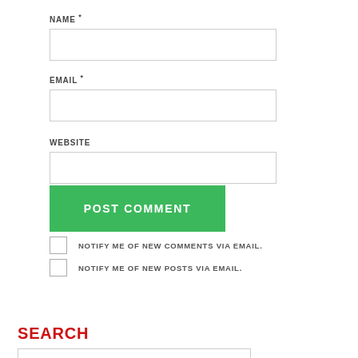NAME *
EMAIL *
WEBSITE
POST COMMENT
NOTIFY ME OF NEW COMMENTS VIA EMAIL.
NOTIFY ME OF NEW POSTS VIA EMAIL.
SEARCH